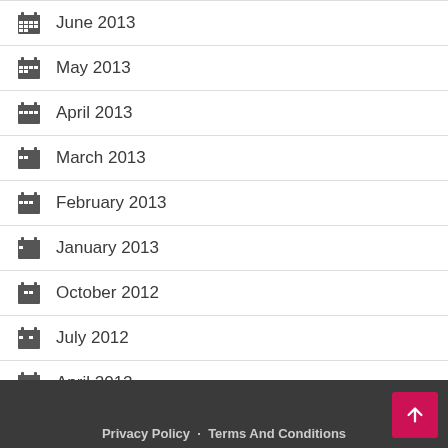June 2013
May 2013
April 2013
March 2013
February 2013
January 2013
October 2012
July 2012
April 2012
February 2012
August 2011
Privacy Policy   Terms And Conditions